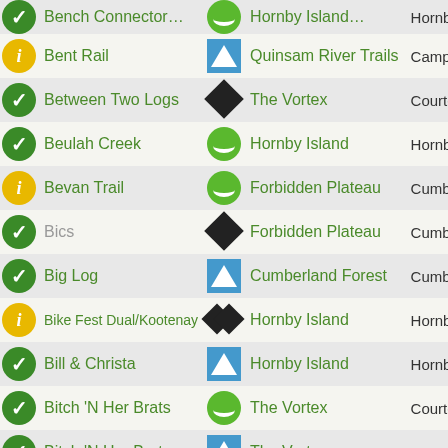| Status | Trail Name | Area Icon | Area Name | Region |
| --- | --- | --- | --- | --- |
| green-check | Bent Rail | blue-square | Quinsam River Trails | Campb… |
| green-check | Between Two Logs | black-diamond | The Vortex | Courte… |
| green-check | Beulah Creek | green-circle | Hornby Island | Hornby… |
| yellow-i | Bevan Trail | green-circle | Forbidden Plateau | Cumbe… |
| green-check | Bics | black-diamond | Forbidden Plateau | Cumbe… |
| green-check | Big Log | blue-square | Cumberland Forest | Cumbe… |
| yellow-i | Bike Fest Dual/Kootenay | double-diamond | Hornby Island | Hornby… |
| green-check | Bill & Christa | blue-square | Hornby Island | Hornby… |
| green-check | Bitch 'N Her Brats | green-circle | The Vortex | Courte… |
| green-check | Bitch 'N Her Brats | blue-square | The Vortex | Courte… |
| green-check | Bitchin' Camero | black-diamond | Hornby Island | Hornby… |